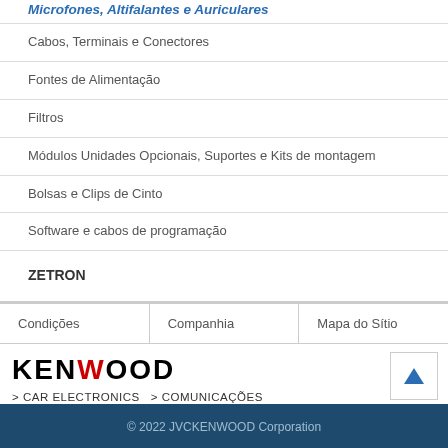Microfones, Altifalantes e Auriculares
Cabos, Terminais e Conectores
Fontes de Alimentação
Filtros
Módulos Unidades Opcionais, Suportes e Kits de montagem
Bolsas e Clips de Cinto
Software e cabos de programação
ZETRON
Condições
Companhia
Mapa do Sítio
[Figure (logo): KENWOOD logo in bold black text with red V]
> CAR ELECTRONICS  > COMUNICAÇÕES
© 2022 JVCKENWOOD Corporation